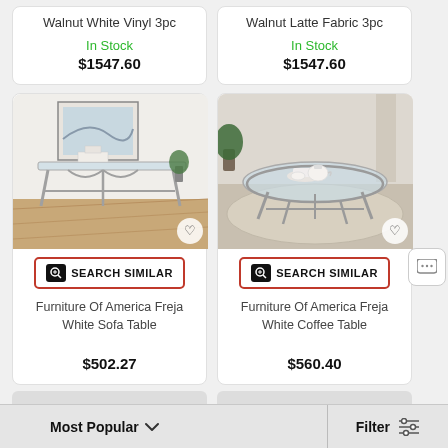Walnut White Vinyl 3pc
In Stock
$1547.60
Walnut Latte Fabric 3pc
In Stock
$1547.60
[Figure (photo): Furniture Of America Freja White Sofa Table — glass-top console table with silver metal frame in a bright room]
SEARCH SIMILAR
Furniture Of America Freja White Sofa Table
$502.27
[Figure (photo): Furniture Of America Freja White Coffee Table — round glass-top coffee table with silver metal frame and tea set on top]
SEARCH SIMILAR
Furniture Of America Freja White Coffee Table
$560.40
Most Popular
Filter